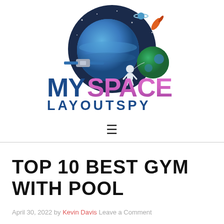[Figure (logo): MySpace LayoutSpy logo with space-themed illustration featuring planets, satellite, astronaut, and stylized text 'MYSPACE LAYOUTSPY']
TOP 10 BEST GYM WITH POOL
April 30, 2022 by Kevin Davis Leave a Comment